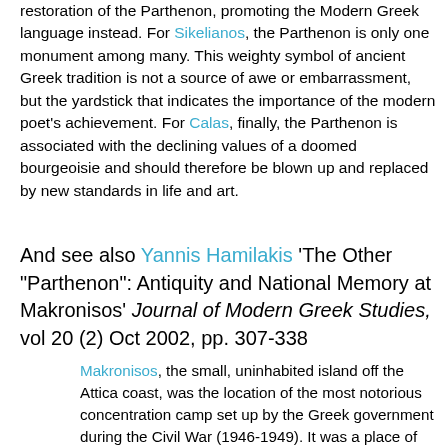restoration of the Parthenon, promoting the Modern Greek language instead. For Sikelianos, the Parthenon is only one monument among many. This weighty symbol of ancient Greek tradition is not a source of awe or embarrassment, but the yardstick that indicates the importance of the modern poet's achievement. For Calas, finally, the Parthenon is associated with the declining values of a doomed bourgeoisie and should therefore be blown up and replaced by new standards in life and art.
And see also Yannis Hamilakis 'The Other "Parthenon": Antiquity and National Memory at Makronisos' Journal of Modern Greek Studies, vol 20 (2) Oct 2002, pp. 307-338
Makronisos, the small, uninhabited island off the Attica coast, was the location of the most notorious concentration camp set up by the Greek government during the Civil War (1946-1949). It was a place of brutality, torture, and death, but its distinctive feature was its role as an indoctrination centre for many thousands of political dissidents (mostly left-wing soldiers and citizens, but also ethnic and religious minorities) who, after they were "re-educated" in the national